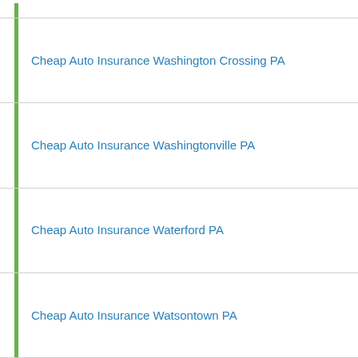Cheap Auto Insurance Washington Crossing PA
Cheap Auto Insurance Washingtonville PA
Cheap Auto Insurance Waterford PA
Cheap Auto Insurance Watsontown PA